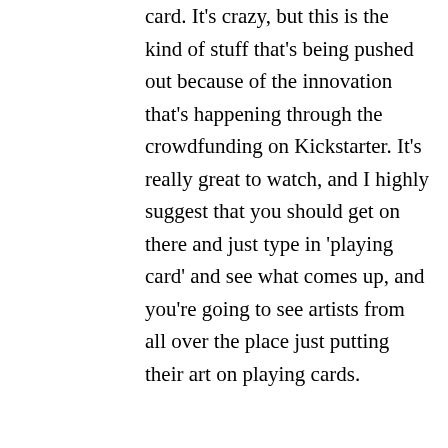card. It's crazy, but this is the kind of stuff that's being pushed out because of the innovation that's happening through the crowdfunding on Kickstarter. It's really great to watch, and I highly suggest that you should get on there and just type in 'playing card' and see what comes up, and you're going to see artists from all over the place just putting their art on playing cards.